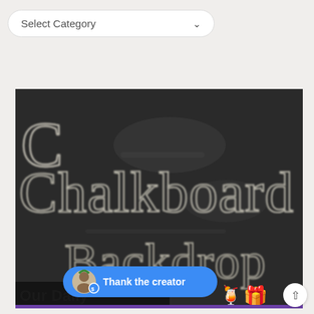Select Category
[Figure (photo): A dark chalkboard with 'Chalkboard Backdrop' written in white chalk handwriting. At the bottom is a banner with 'Our Daily...' text and a 'Thank the creator' button overlay with a person avatar and emoji decorations.]